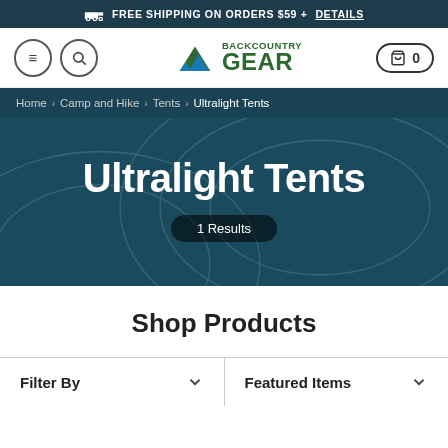FREE SHIPPING ON ORDERS $59 + DETAILS
[Figure (logo): Backcountry Gear logo with mountain graphic]
Home > Camp and Hike > Tents > Ultralight Tents
Ultralight Tents
1 Results
Shop Products
Filter By
Featured Items